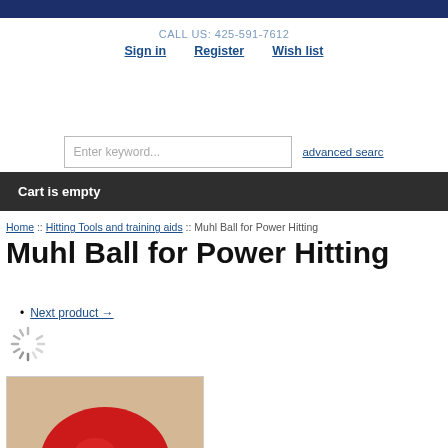CALL US: 425-591-7612 | Sign in | Register | Wish list
Enter keyword... advanced search
Cart is empty
Home :: Hitting Tools and training aids :: Muhl Ball for Power Hitting
Muhl Ball for Power Hitting
Next product →
[Figure (photo): Loading spinner icon and product image showing a red ball on a sandy/beige surface]